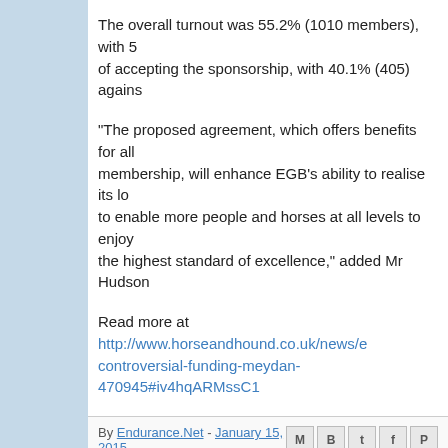The overall turnout was 55.2% (1010 members), with 5 of accepting the sponsorship, with 40.1% (405) agains
“The proposed agreement, which offers benefits for all membership, will enhance EGB's ability to realise its lo to enable more people and horses at all levels to enjoy the highest standard of excellence,” added Mr Hudson
Read more at http://www.horseandhound.co.uk/news/e controversial-funding-meydan-470945#iv4hqARMssC1
By Endurance.Net - January 15, 2015
Wednesday, January 14, 2015
Lunch Line
[Figure (photo): Photo strip at bottom of page showing outdoor scene with teal/green colors]